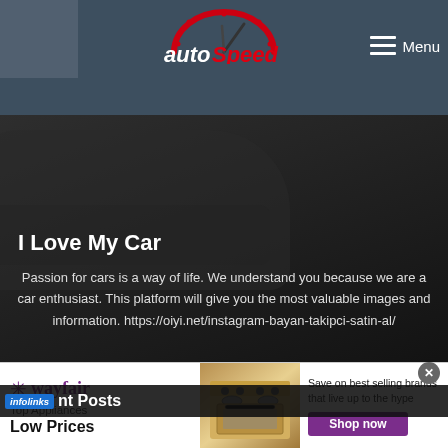autoSpeed — Menu
[Figure (logo): autoSpeed logo with red speedometer arc above italic text 'autoSpeed' in white and red]
I Love My Car
Passion for cars is a way of life. We understand you because we are a car enthusiast. This platform will give you the most valuable images and information. https://oiyi.net/instagram-bayan-takipci-satin-al/
Recent Posts
[Figure (screenshot): Wayfair advertisement banner: Top Appliances Low Prices, with image of a stove/range, and Shop now button. Save on best selling brands that live up to the hype.]